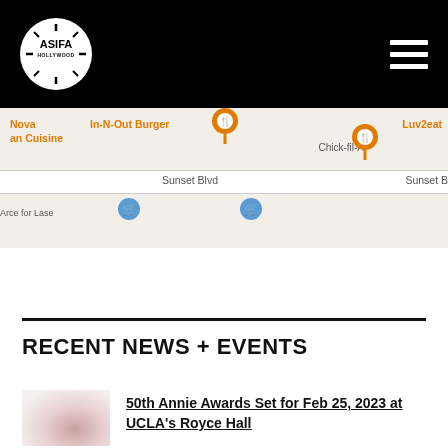ASIFA HOLLYWOOD
[Figure (map): Google Maps screenshot showing Sunset Blvd area with markers for In-N-Out Burger, Chick-fil-A, Luv2eat, Nova an Cuisine, and other locations along Sunset Blvd in Hollywood.]
RECENT NEWS + EVENTS
[Figure (photo): Small thumbnail image with pink/red tones, likely an event or award photo.]
50th Annie Awards Set for Feb 25, 2023 at UCLA's Royce Hall